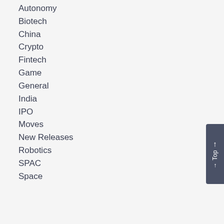Autonomy
Biotech
China
Crypto
Fintech
Game
General
India
IPO
Moves
New Releases
Robotics
SPAC
Space